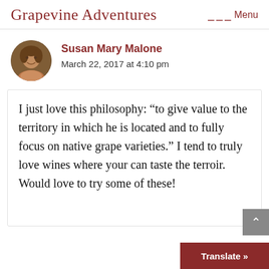Grapevine Adventures   Menu
Susan Mary Malone
March 22, 2017 at 4:10 pm
I just love this philosophy: “to give value to the territory in which he is located and to fully focus on native grape varieties.” I tend to truly love wines where your can taste the terroir. Would love to try some of these!